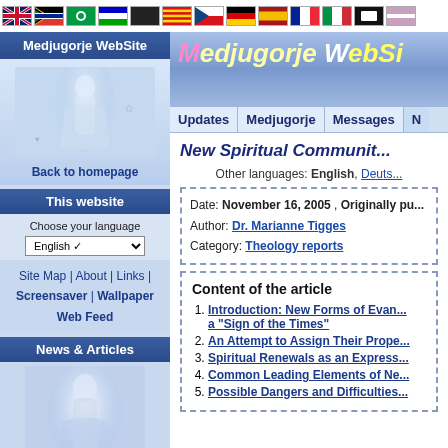[Figure (other): Row of country flag icons at the top of the page]
Medjugorje WebSite
[Figure (illustration): Religious figure illustration (Jesus/Mary) with light blue background]
Back to homepage
This website
Choose your language
English (dropdown)
Site Map | About | Links | Screensaver | Wallpaper
Web Feed
News & Articles
[Figure (illustration): Religious article image with soft blue/white tones]
Latest articles
Articles with videos
New Spiritual Communit...
Other languages: English, Deuts...
Date: November 16, 2005 , Originally pu...
Author: Dr. Marianne Tigges
Category: Theology reports
Content of the article
1. Introduction: New Forms of Evan... a "Sign of the Times"
2. An Attempt to Assign Their Prope...
3. Spiritual Renewals as an Express...
4. Common Leading Elements of Ne...
5. Possible Dangers and Difficulties...